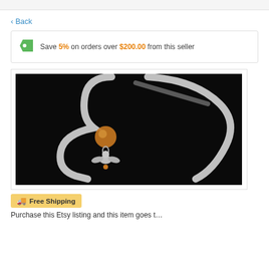< Back
Save 5% on orders over $200.00 from this seller
[Figure (photo): A silver bookmark with an amber/topaz crystal bead and a small silver angel charm hanging from it, photographed on a black background.]
Free Shipping
Purchase this Etsy listing and this item goes t...